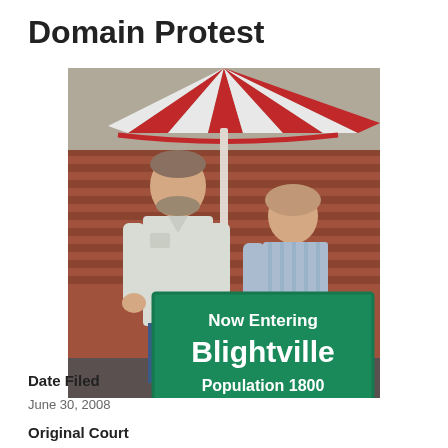Domain Protest
[Figure (photo): Two people standing outdoors under a red umbrella, holding a large green sign that reads 'Now Entering Blightville Population 1800'. The man on the left is tall and wearing a light grey short-sleeve button-up shirt with jeans. The woman on the right is seated and wearing a blue striped blouse. Background shows a brick wall.]
Date Filed
June 30, 2008
Original Court